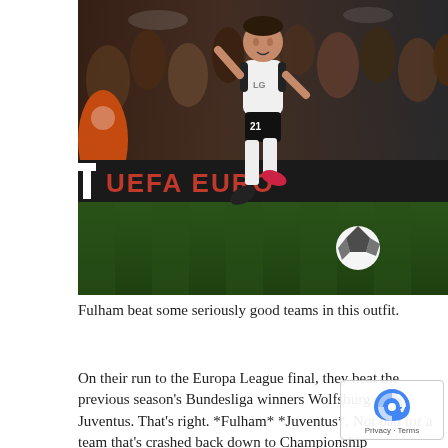[Figure (photo): A Fulham football player wearing white kit with number 21 and LG sponsor, mid-run celebrating on a stadium pitch at night with UEFA Europa League advertising boards visible in background and fans in the stands.]
Fulham beat some seriously good teams in this outfit.
On their run to the Europa League final, they beat the previous season's Bundesliga winners Wolfsburg and Juventus. That's right. *Fulham* *Juventus*. Not bad for a team that's crashed back down to Championship mediocrity a decade later.